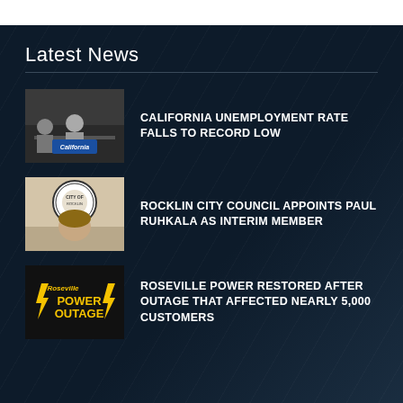Latest News
[Figure (photo): Black and white photo of people sitting at a table with a California sign/logo visible in the foreground]
CALIFORNIA UNEMPLOYMENT RATE FALLS TO RECORD LOW
[Figure (photo): Photo of Rocklin city seal/logo with a person below it]
ROCKLIN CITY COUNCIL APPOINTS PAUL RUHKALA AS INTERIM MEMBER
[Figure (photo): Black graphic with yellow lightning bolts and text: Roseville POWER OUTAGE]
ROSEVILLE POWER RESTORED AFTER OUTAGE THAT AFFECTED NEARLY 5,000 CUSTOMERS